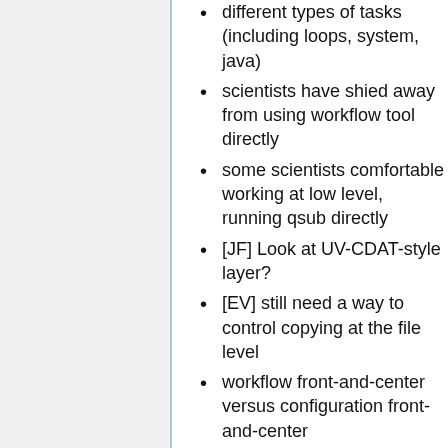different types of tasks (including loops, system, java)
scientists have shied away from using workflow tool directly
some scientists comfortable working at low level, running qsub directly
[JF] Look at UV-CDAT-style layer?
[EV] still need a way to control copying at the file level
workflow front-and-center versus configuration front-and-center
[JF] VisTrails treats changes to parameters the same way changes to the structure of the workflow
configuration tree with lots of parameters that can be changed